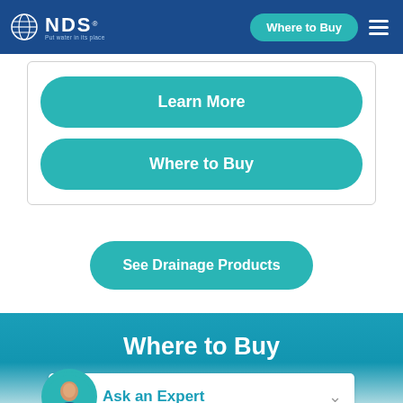NDS — Put water in its place | Where to Buy | [menu]
Learn More
Where to Buy
See Drainage Products
Where to Buy
Ask an Expert